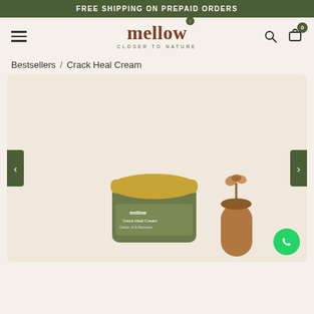FREE SHIPPING ON PREPAID ORDERS
[Figure (logo): Mellow 'Closer to Nature' brand logo with a green leaf above the text]
Bestsellers / Crack Heal Cream
[Figure (photo): Product photo of Mellow Crack Heal Cream in a gold-lidded jar with a small wooden container and dried flower alongside, on a cream background]